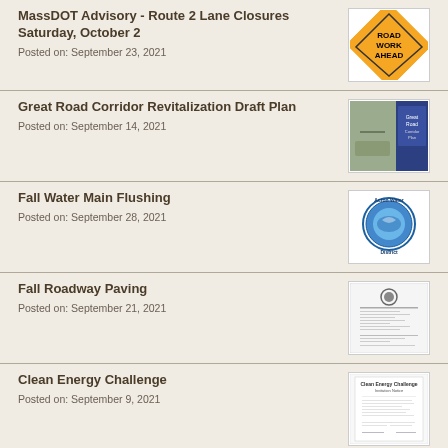MassDOT Advisory - Route 2 Lane Closures Saturday, October 2
Posted on: September 23, 2021
[Figure (photo): Orange road work ahead diamond sign]
Great Road Corridor Revitalization Draft Plan
Posted on: September 14, 2021
[Figure (photo): Great Road Corridor plan cover with road and blue booklet]
Fall Water Main Flushing
Posted on: September 28, 2021
[Figure (logo): Acton Water District circular logo]
Fall Roadway Paving
Posted on: September 21, 2021
[Figure (photo): Fall roadway paving document with town seal]
Clean Energy Challenge
Posted on: September 9, 2021
[Figure (photo): Clean Energy Challenge document/certificate]